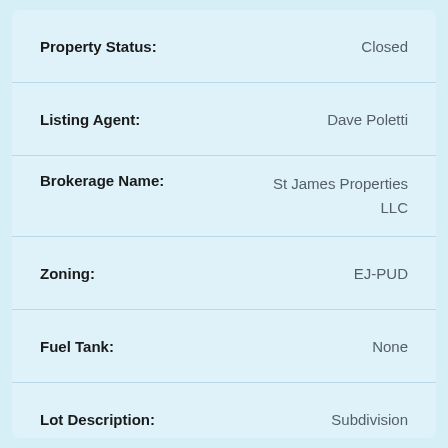Property Status: Closed
Listing Agent: Dave Poletti
Brokerage Name: St James Properties LLC
Zoning: EJ-PUD
Fuel Tank: None
Lot Description: Subdivision
Road Type Frontage: Maintained;Private